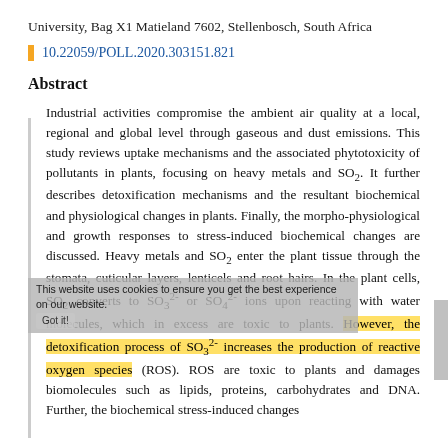University, Bag X1 Matieland 7602, Stellenbosch, South Africa
10.22059/POLL.2020.303151.821
Abstract
Industrial activities compromise the ambient air quality at a local, regional and global level through gaseous and dust emissions. This study reviews uptake mechanisms and the associated phytotoxicity of pollutants in plants, focusing on heavy metals and SO2. It further describes detoxification mechanisms and the resultant biochemical and physiological changes in plants. Finally, the morpho-physiological and growth responses to stress-induced biochemical changes are discussed. Heavy metals and SO2 enter the plant tissue through the stomata, cuticular layers, lenticels and root hairs. In the plant cells, SO2 converts to SO32- or SO42- ions upon reacting with water molecules, which in excess are toxic to plants. However, the detoxification process of SO32- increases the production of reactive oxygen species (ROS). ROS are toxic to plants and damages biomolecules such as lipids, proteins, carbohydrates and DNA. Further, the biochemical stress-induced changes